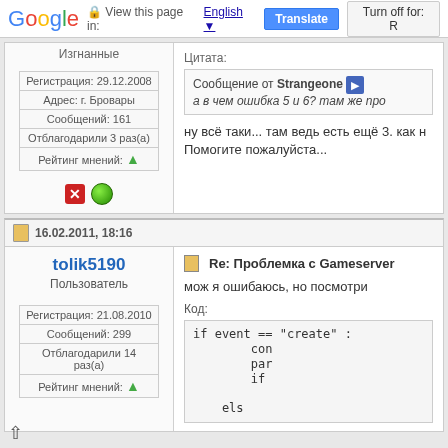Google | View this page in: English | Translate | Turn off for: R
Изгнанные
Цитата:
Сообщение от Strangeone
а в чем ошибка 5 и 6? там же про
ну всё таки... там ведь есть ещё 3. как н
Помогите пожалуйста...
| Регистрация: 29.12.2008 |
| Адрес: г. Бровары |
| Сообщений: 161 |
| Отблагодарили 3 раз(а) |
| Рейтинг мнений: ▲ |
16.02.2011, 18:16
tolik5190
Пользователь
Re: Проблемка с Gameserver
мож я ошибаюсь, но посмотри
Код:
if event == "create" :
        con
        par
        if

    els
| Регистрация: 21.08.2010 |
| Сообщений: 299 |
| Отблагодарили 14 раз(а) |
| Рейтинг мнений: ▲ |